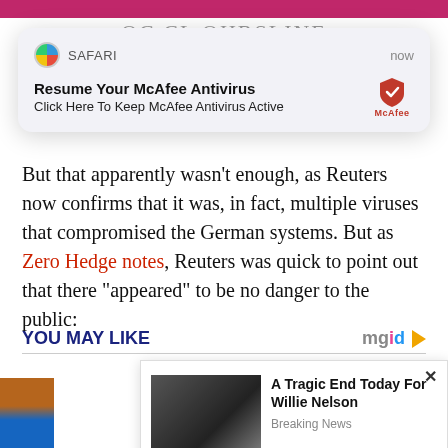[Figure (screenshot): iOS Safari push notification from McAfee Antivirus: 'Resume Your McAfee Antivirus - Click Here To Keep McAfee Antivirus Active', shown on top of a partially visible webpage.]
But that apparently wasn't enough, as Reuters now confirms that it was, in fact, multiple viruses that compromised the German systems. But as Zero Hedge notes, Reuters was quick to point out that there “appeared” to be no danger to the public:
YOU MAY LIKE
[Figure (screenshot): Recommended content widget (mgid) showing a popup card with headline 'A Tragic End Today For Willie Nelson' from Breaking News, with a photo of an elderly man.]